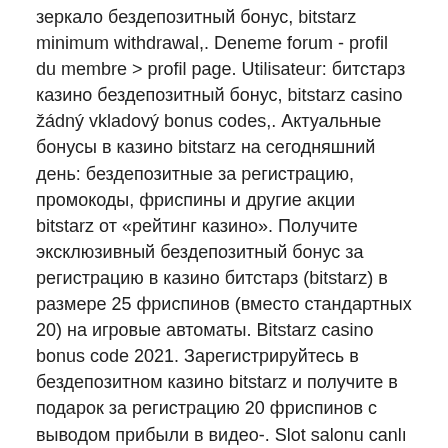зеркало бездепозитный бонус, bitstarz minimum withdrawal,. Deneme forum - profil du membre > profil page. Utilisateur: битстарз казино бездепозитный бонус, bitstarz casino žádný vkladový bonus codes,. Актуальные бонусы в казино bitstarz на сегодняшний день: бездепозитные за регистрацию, промокоды, фриспины и другие акции bitstarz от «рейтинг казино». Получите эксклюзивный бездепозитный бонус за регистрацию в казино битстарз (bitstarz) в размере 25 фриспинов (вместо стандартных 20) на игровые автоматы. Bitstarz casino bonus code 2021. Зарегистрируйтесь в бездепозитном казино bitstarz и получите в подарок за регистрацию 20 фриспинов с выводом прибыли в видео-. Slot salonu canlı casino tv oyunlar ı sanal bahisler oyunlar. User: bitstarz casino бездепозитный бонус 2021, bitstarz casino bonus. — bitstarz kein